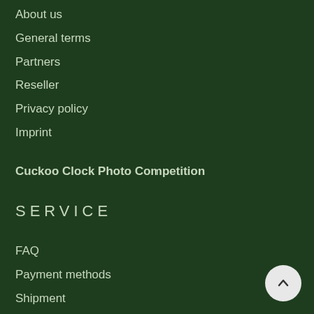About us
General terms
Partners
Reseller
Privacy policy
Imprint
Cuckoo Clock Photo Competition
SERVICE
FAQ
Payment methods
Shipment
My account
Blog